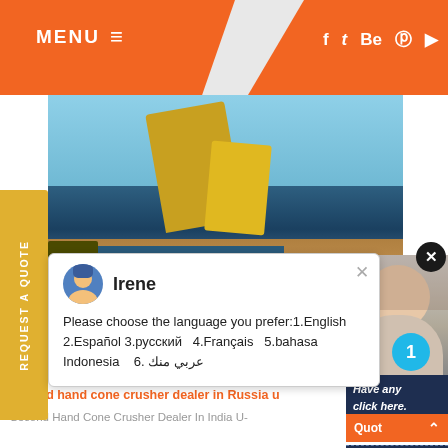MENU  ≡   f  t  Be  ⊕  ▶
[Figure (photo): Construction machinery / crane at industrial site with yellow equipment, C&M Mac text overlay]
REQUEST A QUOTE
[Figure (screenshot): Chat popup with agent named Irene showing language selection: Please choose the language you prefer:1.English 2.Español 3.русский 4.Français 5.bahasa Indonesia 6. عربيمنك]
Irene
Please choose the language you prefer:1.English  2.Español 3.русский  4.Français  5.bahasa Indonesia   6. عربي منك
Have any  click here.
Quot
Enquiry
drobilkalm
second hand cone crusher dealer in Russia u
Second Hand Cone Crusher Dealer In India U--